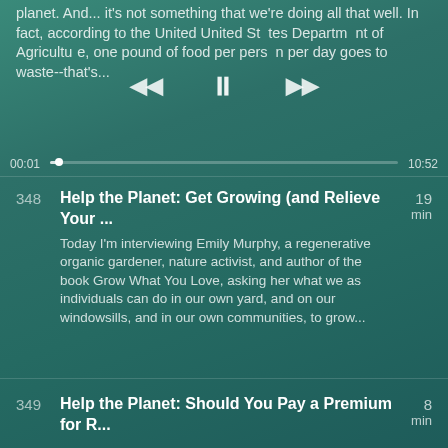planet. And... it's not something that we're doing all that well. In fact, according to the United United States Department of Agriculture, one pound of food per person per day goes to waste--that's...
00:01  10:52
348  Help the Planet: Get Growing (and Relieve Your ...  19 min  Today I'm interviewing Emily Murphy, a regenerative organic gardener, nature activist, and author of the book Grow What You Love, asking her what we as individuals can do in our own yard, and on our windowsills, and in our own communities, to grow...
349  Help the Planet: Should You Pay a Premium for R...  8 min  How you power the lights, the heat, the cooling, the devices, and all the electronic doo dads in your home is one of your biggest levers for either contributing to climate change, or steering us away from it. Yet renewable energy costs more than...
350  Help the Planet: Why Paying $2 More Now Saves a...  8 min  Of course we want to make the planet a better